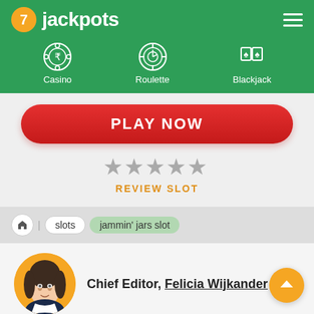7jackpots
Casino
Roulette
Blackjack
PLAY NOW
[Figure (other): Five star rating icons (empty/grey stars)]
REVIEW SLOT
slots | jammin' jars slot
[Figure (illustration): Avatar illustration of a woman with dark hair on orange circle background]
Chief Editor, Felicia Wijkander
HOW TO PLAY JAMMIN' JARS SLOT